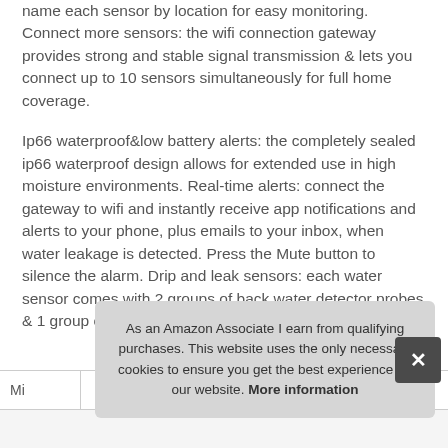name each sensor by location for easy monitoring. Connect more sensors: the wifi connection gateway provides strong and stable signal transmission & lets you connect up to 10 sensors simultaneously for full home coverage.
Ip66 waterproof&low battery alerts: the completely sealed ip66 waterproof design allows for extended use in high moisture environments. Real-time alerts: connect the gateway to wifi and instantly receive app notifications and alerts to your phone, plus emails to your inbox, when water leakage is detected. Press the Mute button to silence the alarm. Drip and leak sensors: each water sensor comes with 2 groups of back water detector probes & 1 group of front probes for pipe dripping detection.
As an Amazon Associate I earn from qualifying purchases. This website uses the only necessary cookies to ensure you get the best experience on our website. More information